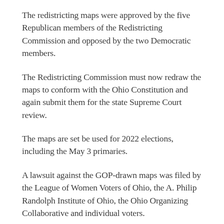The redistricting maps were approved by the five Republican members of the Redistricting Commission and opposed by the two Democratic members.
The Redistricting Commission must now redraw the maps to conform with the Ohio Constitution and again submit them for the state Supreme Court review.
The maps are set be used for 2022 elections, including the May 3 primaries.
A lawsuit against the GOP-drawn maps was filed by the League of Women Voters of Ohio, the A. Philip Randolph Institute of Ohio, the Ohio Organizing Collaborative and individual voters.
Source